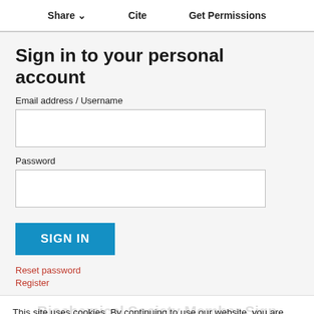Share   Cite   Get Permissions
Sign in to your personal account
Email address / Username
Password
SIGN IN
Reset password
Register
This site uses cookies. By continuing to use our website, you are agreeing to our privacy policy. Accept